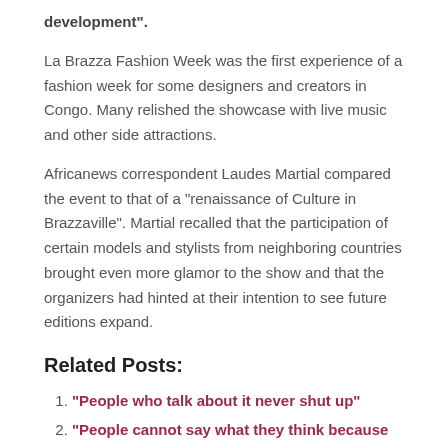development”.
La Brazza Fashion Week was the first experience of a fashion week for some designers and creators in Congo. Many relished the showcase with live music and other side attractions.
Africanews correspondent Laudes Martial compared the event to that of a “renaissance of Culture in Brazzaville”. Martial recalled that the participation of certain models and stylists from neighboring countries brought even more glamor to the show and that the organizers had hinted at their intention to see future editions expand.
Related Posts:
“People who talk about it never shut up”
“People cannot say what they think because they will be canceled”
Five traditional African games that show the beauty of African culture | Custodian of culture